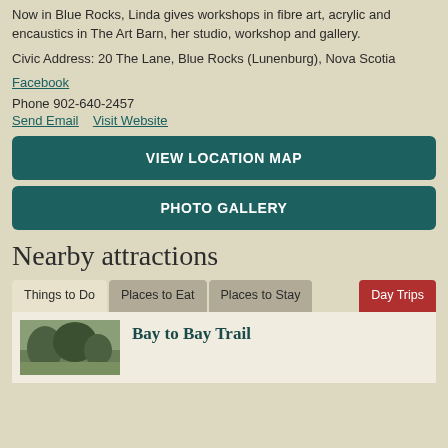Now in Blue Rocks, Linda gives workshops in fibre art, acrylic and encaustics in The Art Barn, her studio, workshop and gallery.
Civic Address: 20 The Lane, Blue Rocks (Lunenburg), Nova Scotia
Facebook
Phone 902-640-2457
Send Email    Visit Website
VIEW LOCATION MAP
PHOTO GALLERY
Nearby attractions
Things to Do   Places to Eat   Places to Stay   Day Trips
Bay to Bay Trail